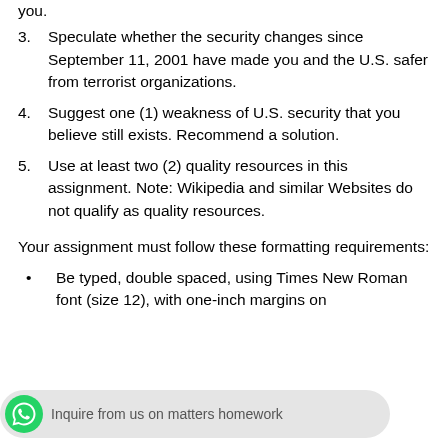you.
3. Speculate whether the security changes since September 11, 2001 have made you and the U.S. safer from terrorist organizations.
4. Suggest one (1) weakness of U.S. security that you believe still exists. Recommend a solution.
5. Use at least two (2) quality resources in this assignment. Note: Wikipedia and similar Websites do not qualify as quality resources.
Your assignment must follow these formatting requirements:
Be typed, double spaced, using Times New Roman font (size 12), with one-inch margins on all sides; citations and references must follow APA or school-specific format.